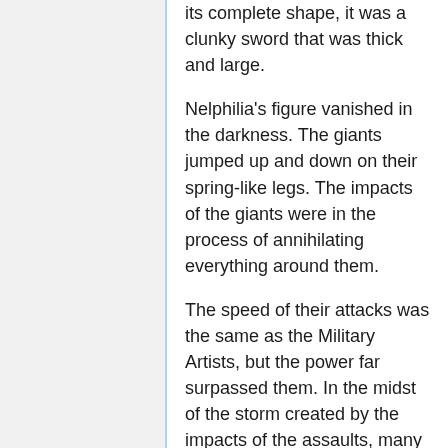its complete shape, it was a clunky sword that was thick and large.
Nelphilia's figure vanished in the darkness. The giants jumped up and down on their spring-like legs. The impacts of the giants were in the process of annihilating everything around them.
The speed of their attacks was the same as the Military Artists, but the power far surpassed them. In the midst of the storm created by the impacts of the assaults, many strange creatures swam through the air with their long bodies. They attempted to fly for the giants using the floor as its leaping point.
The giants took the attack with their swords and cut open a small corner of the darkness to reveal the normal streetscape. Many strange creatures scattered due to the sword attack and